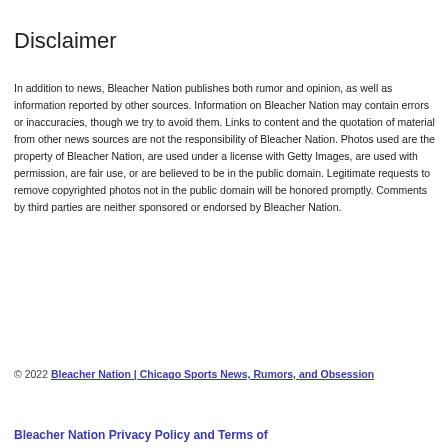Disclaimer
In addition to news, Bleacher Nation publishes both rumor and opinion, as well as information reported by other sources. Information on Bleacher Nation may contain errors or inaccuracies, though we try to avoid them. Links to content and the quotation of material from other news sources are not the responsibility of Bleacher Nation. Photos used are the property of Bleacher Nation, are used under a license with Getty Images, are used with permission, are fair use, or are believed to be in the public domain. Legitimate requests to remove copyrighted photos not in the public domain will be honored promptly. Comments by third parties are neither sponsored or endorsed by Bleacher Nation.
© 2022 Bleacher Nation | Chicago Sports News, Rumors, and Obsession
Bleacher Nation Privacy Policy and Terms of